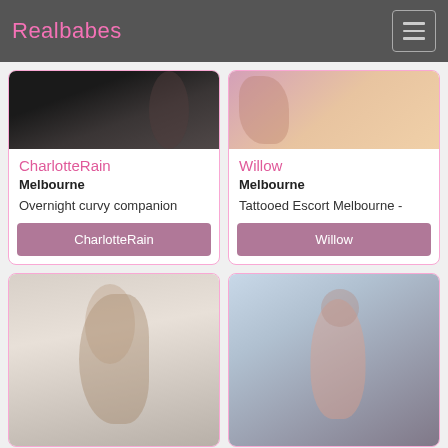Realbabes
CharlotteRain
Melbourne
Overnight curvy companion
CharlotteRain
Willow
Melbourne
Tattooed Escort Melbourne -
Willow
[Figure (photo): Portrait photo – person visible from shoulders, dark background]
[Figure (photo): Portrait photo – tattooed person, pink tones, warm background]
[Figure (photo): Portrait photo – person with long hair near window with curtains]
[Figure (photo): Portrait photo – person in pink/salmon lingerie near window]